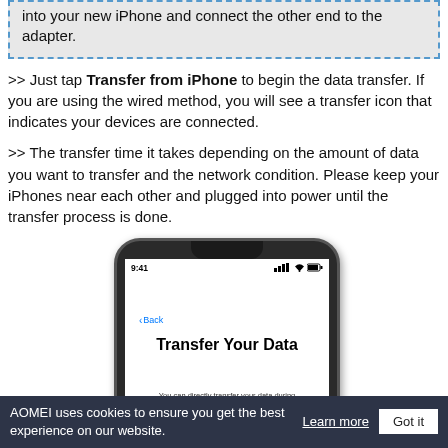into your new iPhone and connect the other end to the adapter.
>> Just tap Transfer from iPhone to begin the data transfer. If you are using the wired method, you will see a transfer icon that indicates your devices are connected.
>> The transfer time it takes depending on the amount of data you want to transfer and the network condition. Please keep your iPhones near each other and plugged into power until the transfer process is done.
[Figure (screenshot): iPhone screen showing 'Transfer Your Data' screen with Back button, time 9:41, and subtitle text 'You can directly transfer your data during']
AOMEI uses cookies to ensure you get the best experience on our website. Learn more  Got it